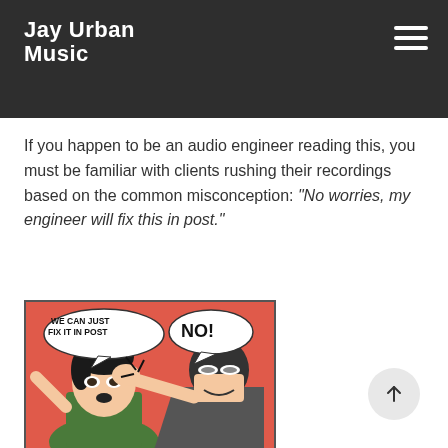Jay Urban Music
To song-writers, the same is true when it comes to making a song. Each step in creating a song is equally important and should never be rushed or considered fixable later (even though, in some cases, this might be possible.)
If you happen to be an audio engineer reading this, you must be familiar with clients rushing their recordings based on the common misconception: “No worries, my engineer will fix this in post.”
[Figure (illustration): Batman slapping Robin meme. Speech bubble on left character says 'WE CAN JUST FIX IT IN POST'. Speech bubble on right (Batman) says 'NO!']